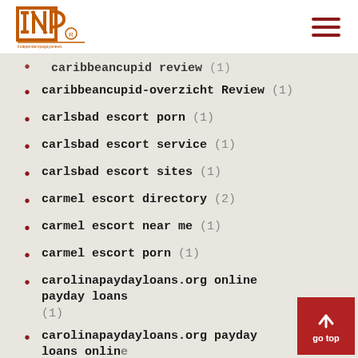INP logo and navigation
caribbeancupid review (1)
caribbeancupid-overzicht Review (1)
carlsbad escort porn (1)
carlsbad escort service (1)
carlsbad escort sites (1)
carmel escort directory (2)
carmel escort near me (1)
carmel escort porn (1)
carolinapaydayloans.org online payday loans (1)
carolinapaydayloans.org payday loans online no credit check instant approval